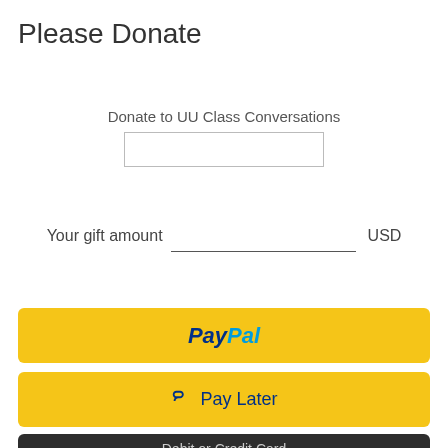Please Donate
Donate to UU Class Conversations
Your gift amount  USD
[Figure (other): PayPal button - yellow rounded rectangle with PayPal logo in blue and cyan italic bold text]
[Figure (other): Pay Later button - yellow rounded rectangle with PayPal P icon and Pay Later text in dark blue]
[Figure (other): Debit or Credit Card button - dark rounded rectangle partially visible at bottom]